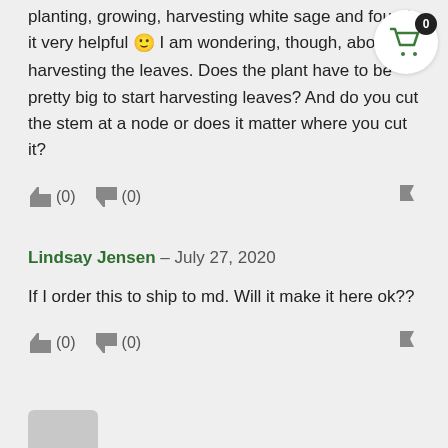planting, growing, harvesting white sage and found it very helpful 🙂 I am wondering, though, about harvesting the leaves. Does the plant have to be pretty big to start harvesting leaves? And do you cut the stem at a node or does it matter where you cut it?
(0) (0) [flag]
Lindsay Jensen – July 27, 2020
If I order this to ship to md. Will it make it here ok??
(0) (0) [flag]